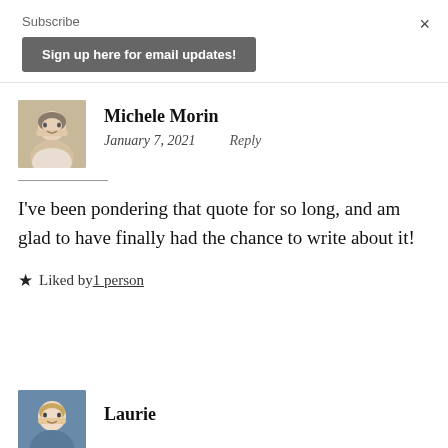Subscribe
Sign up here for email updates!
×
Michele Morin
January 7, 2021    Reply
I've been pondering that quote for so long, and am glad to have finally had the chance to write about it!
★ Liked by 1 person
Laurie